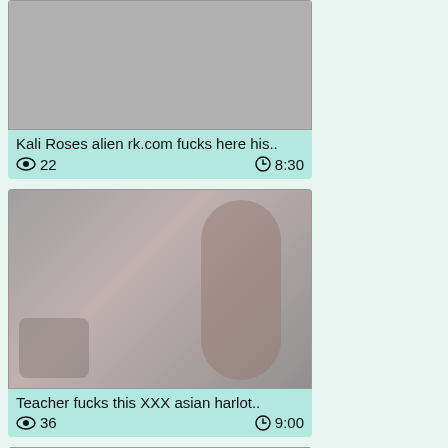[Figure (screenshot): Thumbnail image placeholder (gray) for first video card, partially visible at top]
Kali Roses alien rk.com fucks here his..
👁 22    🕐 8:30
[Figure (photo): Thumbnail image for second video card showing blurred scene]
Teacher fucks this XXX asian harlot..
👁 36    🕐 9:00
[Figure (screenshot): Thumbnail image placeholder (gray) for third video card, partially visible at bottom]